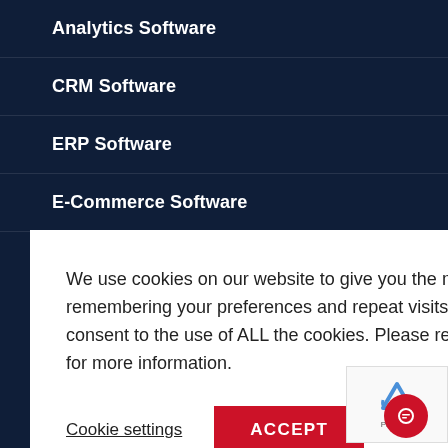Analytics Software
CRM Software
ERP Software
E-Commerce Software
We use cookies on our website to give you the most relevant experience by remembering your preferences and repeat visits. By clicking “Accept”, you consent to the use of ALL the cookies. Please refer to Cookie Policy page for more information.
Cookie settings | ACCEPT